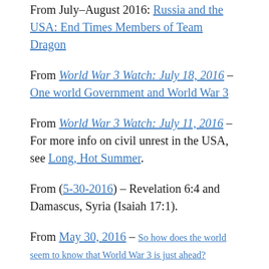From July–August 2016: Russia and the USA: End Times Members of Team Dragon
From World War 3 Watch: July 18, 2016 – One world Government and World War 3
From World War 3 Watch: July 11, 2016 – For more info on civil unrest in the USA, see Long, Hot Summer.
From (5-30-2016) – Revelation 6:4 and Damascus, Syria (Isaiah 17:1).
From May 30, 2016 – So how does the world seem to know that World War 3 is just ahead?
From May 30, 2016 – WHY JUNE, JULY and...